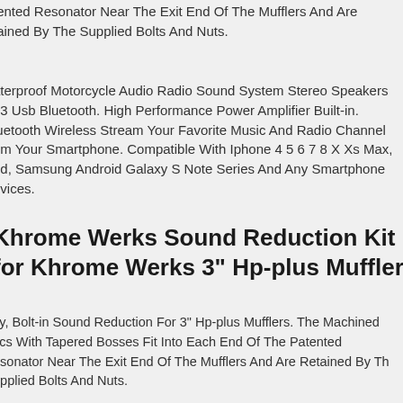tented Resonator Near The Exit End Of The Mufflers And Are tained By The Supplied Bolts And Nuts.
aterproof Motorcycle Audio Radio Sound System Stereo Speakers p3 Usb Bluetooth. High Performance Power Amplifier Built-in. luetooth Wireless Stream Your Favorite Music And Radio Channel om Your Smartphone. Compatible With Iphone 4 5 6 7 8 X Xs Max, od, Samsung Android Galaxy S Note Series And Any Smartphone evices.
Khrome Werks Sound Reduction Kit for Khrome Werks 3" Hp-plus Muffler
sy, Bolt-in Sound Reduction For 3" Hp-plus Mufflers. The Machined scs With Tapered Bosses Fit Into Each End Of The Patented esonator Near The Exit End Of The Mufflers And Are Retained By The upplied Bolts And Nuts.